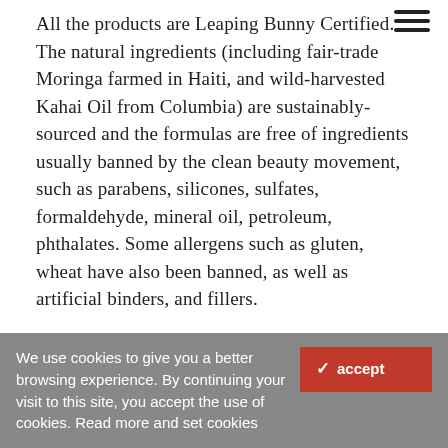All the products are Leaping Bunny Certified. The natural ingredients (including fair-trade Moringa farmed in Haiti, and wild-harvested Kahai Oil from Columbia) are sustainably-sourced and the formulas are free of ingredients usually banned by the clean beauty movement, such as parabens, silicones, sulfates, formaldehyde, mineral oil, petroleum, phthalates. Some allergens such as gluten, wheat have also been banned, as well as artificial binders, and fillers.
"Our products are expertly formulated at the intersection of herbalist wisdom and modern science, focusing on products that work from the inside out, and are deeply holistic on every level," said Petra Nemcova, Chief Inspiration Officer & Co-Founder of Ace of Air. "We work with a brilliant group of experts including dermatologists, herbalists, naturopaths,
We use cookies to give you a better browsing experience. By continuing your visit to this site, you accept the use of cookies. Read more and set cookies